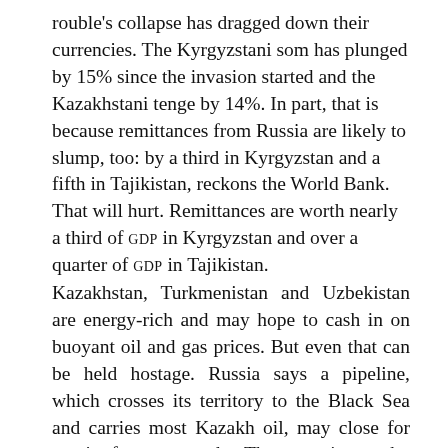rouble's collapse has dragged down their currencies. The Kyrgyzstani som has plunged by 15% since the invasion started and the Kazakhstani tenge by 14%. In part, that is because remittances from Russia are likely to slump, too: by a third in Kyrgyzstan and a fifth in Tajikistan, reckons the World Bank. That will hurt. Remittances are worth nearly a third of gdp in Kyrgyzstan and over a quarter of gdp in Tajikistan. Kazakhstan, Turkmenistan and Uzbekistan are energy-rich and may hope to cash in on buoyant oil and gas prices. But even that can be held hostage. Russia says a pipeline, which crosses its territory to the Black Sea and carries most Kazakh oil, may close for repairs for two months. The move is seen by many as a response to sanctions, with Kazakhstan as collateral damage. “There is this famous saying that if Russia sneezes, Kazakhstan gets a cold,” says a senior Kazakh official. “This will be not a sneeze but a…